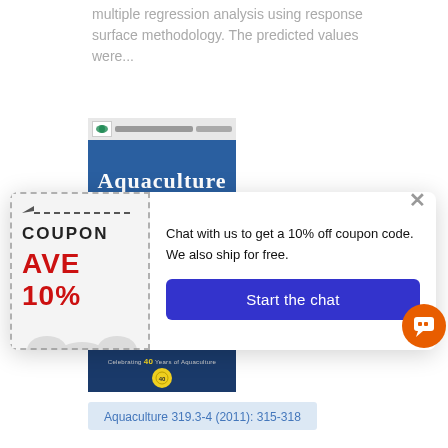multiple regression analysis using response surface methodology. The predicted values were...
[Figure (photo): Cover of the journal Aquaculture, showing the journal title in white on a blue-green background with fish imagery, celebrating 40 years of Aquaculture]
[Figure (screenshot): Popup overlay with a coupon graphic (COUPON, AVE 10%) on the left and chat prompt on the right: 'Chat with us to get a 10% off coupon code. We also ship for free.' with a 'Start the chat' button]
Aquaculture 319.3-4 (2011): 315-318